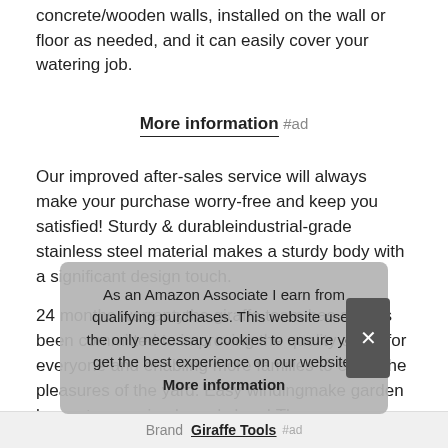concrete/wooden walls, installed on the wall or floor as needed, and it can easily cover your watering job.
More information #ad
Our improved after-sales service will always make your purchase worry-free and keep you satisfied! Sturdy & durableindustrial-grade stainless steel material makes a sturdy body with a significant design touch.
24 months warrantythe giraffe team has always been committed to improving the quality of life for everyone and enabling more families to enjoy the pleasures of the yard. Easy windingmake garden hose storage simple and clean! The eas man
As an Amazon Associate I earn from qualifying purchases. This website uses the only necessary cookies to ensure you get the best experience on our website. More information
Brand Giraffe Tools #ad